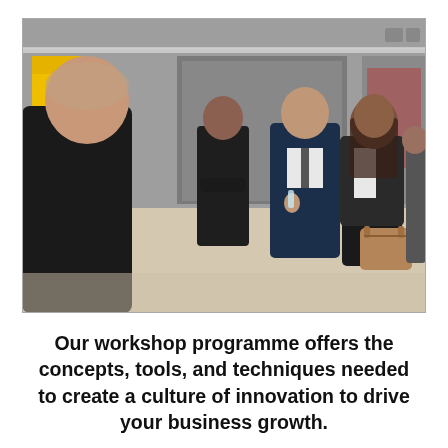[Figure (photo): A group of professionals networking at an indoor event or gallery space. People are standing and talking in small groups; a man in a navy suit is conversing with a woman carrying a handbag; another man in a black suit stands nearby with arms crossed; a man in a black top is visible from behind in the foreground. A yellow sign is visible on the left wall.]
Our workshop programme offers the concepts, tools, and techniques needed to create a culture of innovation to drive your business growth.